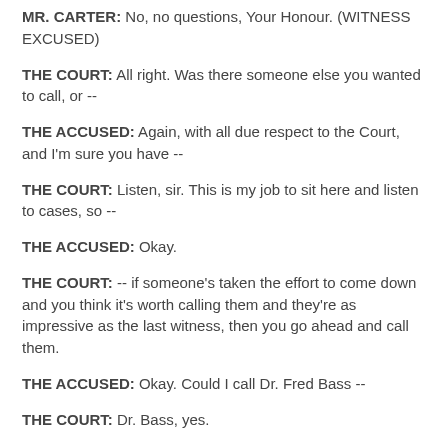MR. CARTER: No, no questions, Your Honour. (WITNESS EXCUSED)
THE COURT: All right. Was there someone else you wanted to call, or --
THE ACCUSED: Again, with all due respect to the Court, and I'm sure you have --
THE COURT: Listen, sir. This is my job to sit here and listen to cases, so --
THE ACCUSED: Okay.
THE COURT: -- if someone's taken the effort to come down and you think it's worth calling them and they're as impressive as the last witness, then you go ahead and call them.
THE ACCUSED: Okay. Could I call Dr. Fred Bass --
THE COURT: Dr. Bass, yes.
FRED BASS, a witness called on